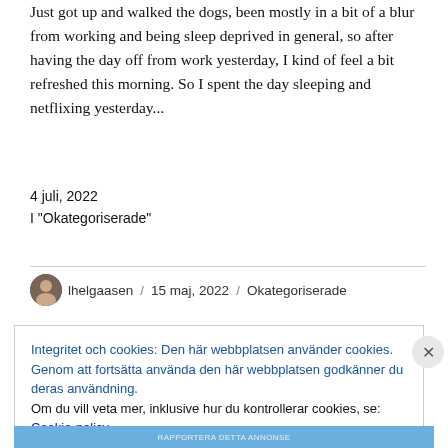Just got up and walked the dogs, been mostly in a bit of a blur from working and being sleep deprived in general, so after having the day off from work yesterday, I kind of feel a bit refreshed this morning. So I spent the day sleeping and netflixing yesterday...
4 juli, 2022
I "Okategoriserade"
lhelgaasen / 15 maj, 2022 / Okategoriserade
Integritet och cookies: Den här webbplatsen använder cookies. Genom att fortsätta använda den här webbplatsen godkänner du deras användning.
Om du vill veta mer, inklusive hur du kontrollerar cookies, se:
Cookie-policy
Stäng och acceptera